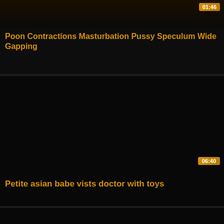[Figure (screenshot): Video thumbnail card 1: dark thumbnail with duration badge showing 01:46, title text below]
Poon Contractions Masturbation Pussy Speculum Wide Gapping
[Figure (screenshot): Video thumbnail card 2: dark/black thumbnail with duration badge showing 06:40, title text below]
Petite asian babe vists doctor with toys
[Figure (screenshot): Video thumbnail card 3: dark/black thumbnail, partially visible at bottom of page]